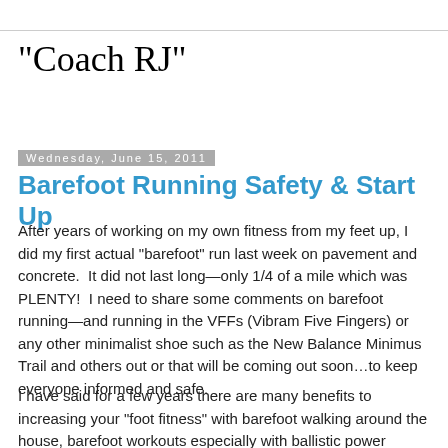"Coach RJ"
Wednesday, June 15, 2011
Barefoot Running Safety & Start Up
After years of working on my own fitness from my feet up, I did my first actual "barefoot" run last week on pavement and concrete.  It did not last long—only 1/4 of a mile which was PLENTY!  I need to share some comments on barefoot running—and running in the VFFs (Vibram Five Fingers) or any other minimalist shoe such as the New Balance Minimus Trail and others out or that will be coming out soon…to keep everyone informed and safe.
I have said for a few years there are many benefits to increasing your "foot fitness" with barefoot walking around the house, barefoot workouts especially with ballistic power activities like kettlebells or martial arts, and just generally increasing the fitness from the ground up.  I have always